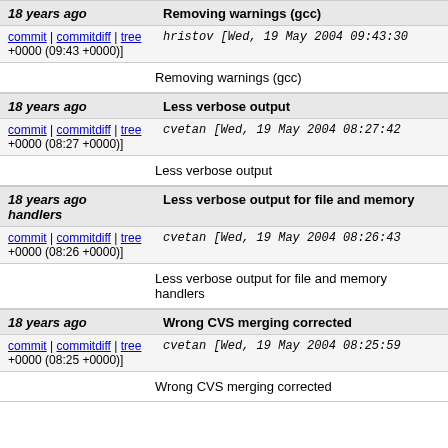18 years ago — Removing warnings (gcc)
commit | commitdiff | tree   hristov [Wed, 19 May 2004 09:43:30 +0000 (09:43 +0000)]
Removing warnings (gcc)
18 years ago — Less verbose output
commit | commitdiff | tree   cvetan [Wed, 19 May 2004 08:27:42 +0000 (08:27 +0000)]
Less verbose output
18 years ago — Less verbose output for file and memory handlers
commit | commitdiff | tree   cvetan [Wed, 19 May 2004 08:26:43 +0000 (08:26 +0000)]
Less verbose output for file and memory handlers
18 years ago — Wrong CVS merging corrected
commit | commitdiff | tree   cvetan [Wed, 19 May 2004 08:25:59 +0000 (08:25 +0000)]
Wrong CVS merging corrected